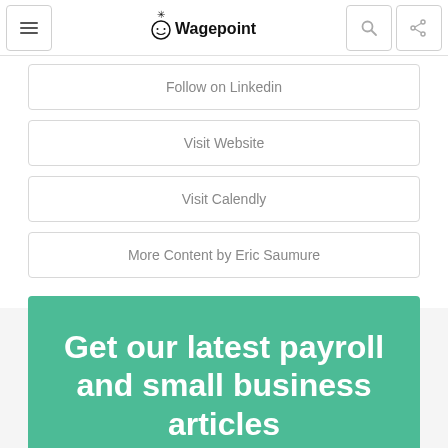Wagepoint
Follow on Linkedin
Visit Website
Visit Calendly
More Content by Eric Saumure
Get our latest payroll and small business articles